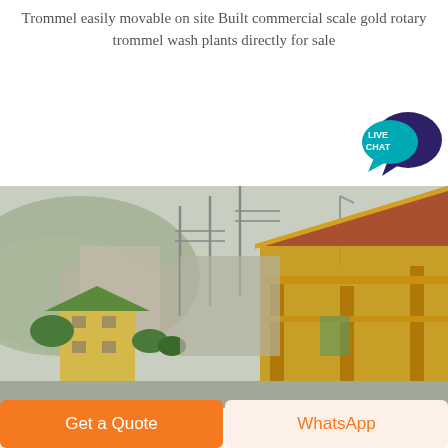Trommel easily movable on site Built commercial scale gold rotary trommel wash plants directly for sale
[Figure (illustration): Live Chat speech bubble icon with dark blue and teal colors, labeled LIVE CHAT]
[Figure (photo): Outdoor industrial/mining site photo showing buildings with green and reddish roofs, yellow structural framework, power lines, misty hills in background]
Get a Quote
WhatsApp